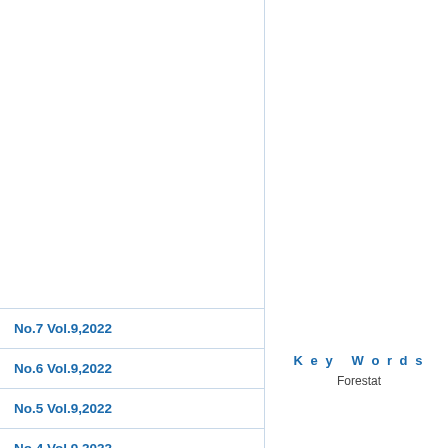No.7 Vol.9,2022
No.6 Vol.9,2022
No.5 Vol.9,2022
No.4 Vol.9,2022
Key Words
Forestat